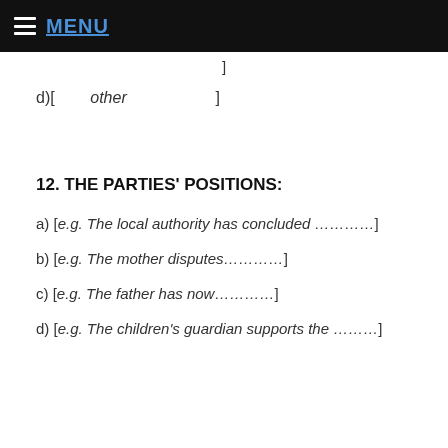MENU
]
d)[        other                    ]
12. THE PARTIES' POSITIONS:
a) [e.g. The local authority has concluded …………]
b) [e.g. The mother disputes…………]
c) [e.g. The father has now…………]
d) [e.g. The children's guardian supports the ………]